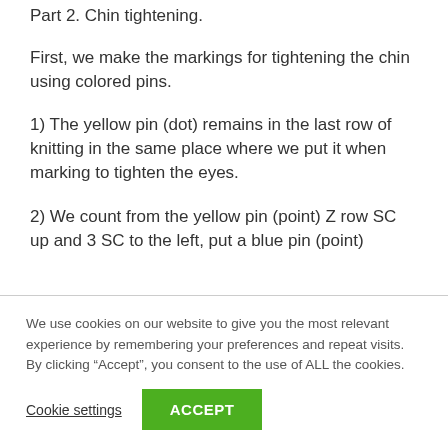Part 2. Chin tightening.
First, we make the markings for tightening the chin using colored pins.
1) The yellow pin (dot) remains in the last row of knitting in the same place where we put it when marking to tighten the eyes.
2) We count from the yellow pin (point) Z row SC up and 3 SC to the left, put a blue pin (point)
We use cookies on our website to give you the most relevant experience by remembering your preferences and repeat visits. By clicking “Accept”, you consent to the use of ALL the cookies.
Cookie settings  ACCEPT